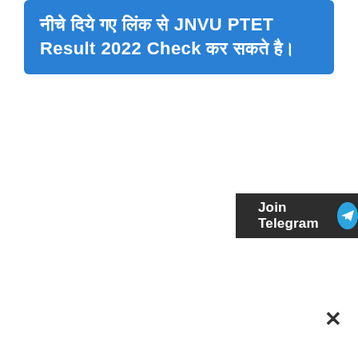नीचे दिये गए लिंक से JNVU PTET Result 2022 Check कर सकते है।
[Figure (other): Join Telegram button with dark background and Telegram send icon]
×